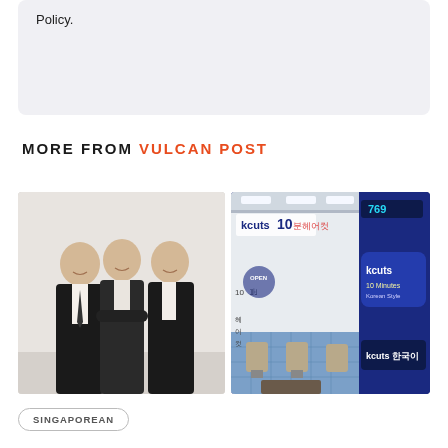Policy.
MORE FROM VULCAN POST
[Figure (photo): Three men in dark suits smiling, posed against a white background]
[Figure (photo): Kcuts 10 barbershop storefront with blue signage, showing interior with barber chairs]
SINGAPOREAN